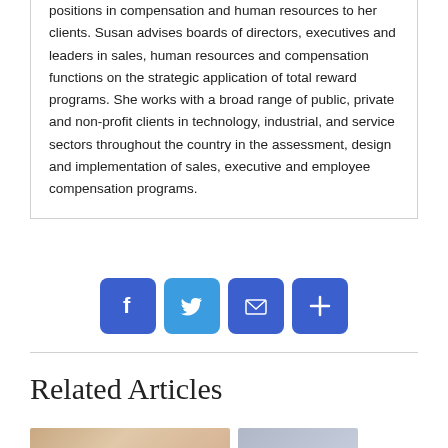positions in compensation and human resources to her clients. Susan advises boards of directors, executives and leaders in sales, human resources and compensation functions on the strategic application of total reward programs. She works with a broad range of public, private and non-profit clients in technology, industrial, and service sectors throughout the country in the assessment, design and implementation of sales, executive and employee compensation programs.
[Figure (other): Social sharing buttons: Facebook (blue, F icon), Twitter (light blue, bird icon), Mail (blue, envelope icon), Share/Plus (blue, plus icon)]
Related Articles
[Figure (photo): Partial view of a photo strip at the bottom of the page showing what appears to be a person]